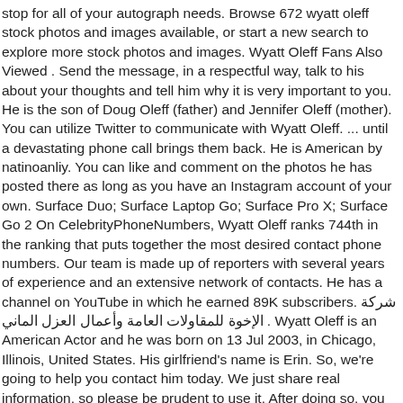stop for all of your autograph needs. Browse 672 wyatt oleff stock photos and images available, or start a new search to explore more stock photos and images. Wyatt Oleff Fans Also Viewed . Send the message, in a respectful way, talk to his about your thoughts and tell him why it is very important to you. He is the son of Doug Oleff (father) and Jennifer Oleff (mother). You can utilize Twitter to communicate with Wyatt Oleff. ... until a devastating phone call brings them back. He is American by natinoanliy. You can like and comment on the photos he has posted there as long as you have an Instagram account of your own. Surface Duo; Surface Laptop Go; Surface Pro X; Surface Go 2 On CelebrityPhoneNumbers, Wyatt Oleff ranks 744th in the ranking that puts together the most desired contact phone numbers. Our team is made up of reporters with several years of experience and an extensive network of contacts. He has a channel on YouTube in which he earned 89K subscribers. شركة الإخوة للمقاولات العامة وأعمال العزل الماني . Wyatt Oleff is an American Actor and he was born on 13 Jul 2003, in Chicago, Illinois, United States. His girlfriend's name is Erin. So, we're going to help you contact him today. We just share real information, so please be prudent to use it. After doing so, you can write on his Facebook timeline and also send him private messages. The Link is given above. You simply